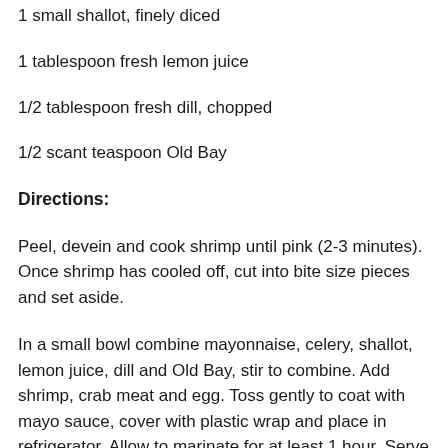1 small shallot, finely diced
1 tablespoon fresh lemon juice
1/2 tablespoon fresh dill, chopped
1/2 scant teaspoon Old Bay
Directions:
Peel, devein and cook shrimp until pink (2-3 minutes). Once shrimp has cooled off, cut into bite size pieces and set aside.
In a small bowl combine mayonnaise, celery, shallot, lemon juice, dill and Old Bay, stir to combine. Add shrimp, crab meat and egg. Toss gently to coat with mayo sauce, cover with plastic wrap and place in refrigerator. Allow to marinate for at least 1 hour. Serve on fresh bread,